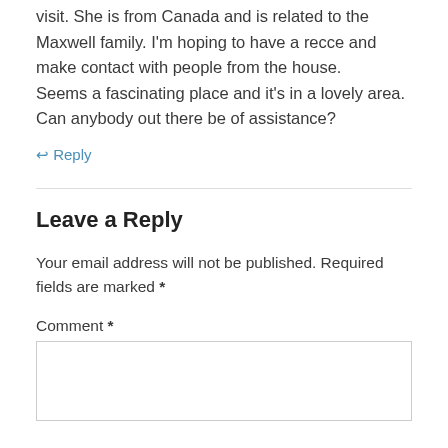visit. She is from Canada and is related to the Maxwell family. I'm hoping to have a recce and make contact with people from the house.
Seems a fascinating place and it's in a lovely area.
Can anybody out there be of assistance?
↩ Reply
Leave a Reply
Your email address will not be published. Required fields are marked *
Comment *